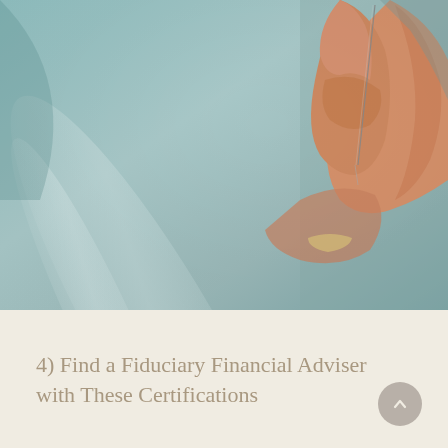[Figure (photo): Close-up photograph of a person's hand holding a small thin needle or pin between thumb and fingers, against a soft teal/grey blurred background with light streaks.]
4) Find a Fiduciary Financial Adviser with These Certifications